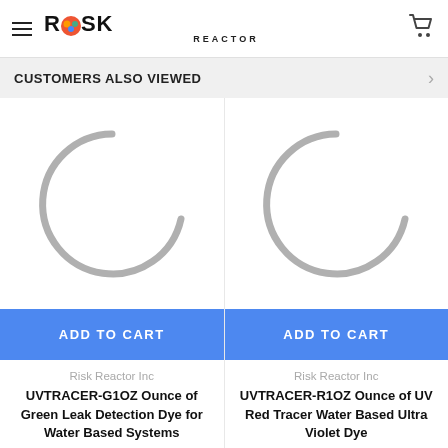Risk Reactor
CUSTOMERS ALSO VIEWED
[Figure (illustration): Loading spinner graphic (partial circle arc) for product image placeholder, left product]
[Figure (illustration): Loading spinner graphic (partial circle arc) for product image placeholder, right product]
ADD TO CART
ADD TO CART
Risk Reactor Inc
UVTRACER-G1OZ Ounce of Green Leak Detection Dye for Water Based Systems
Risk Reactor Inc
UVTRACER-R1OZ Ounce of UV Red Tracer Water Based Ultra Violet Dye